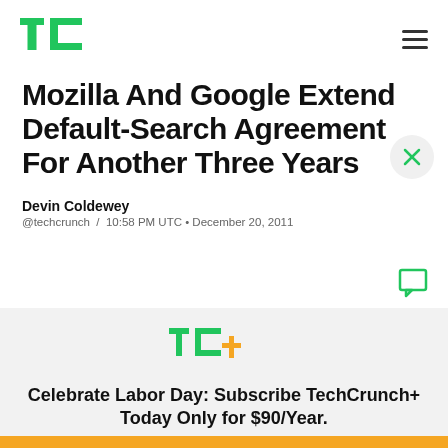TechCrunch logo and navigation
Mozilla And Google Extend Default-Search Agreement For Another Three Years
Devin Coldewey
@techcrunch / 10:58 PM UTC • December 20, 2011
TC+
Celebrate Labor Day: Subscribe TechCrunch+ Today Only for $90/Year.
GET OFFER NOW